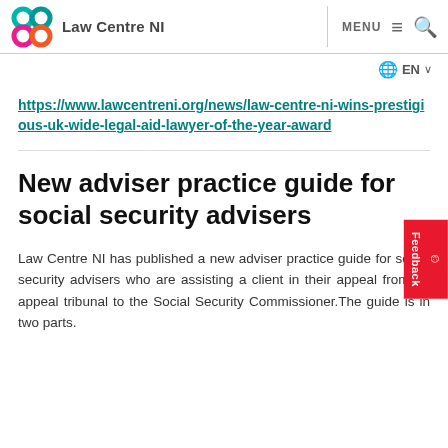Law Centre NI | MENU
EN
https://www.lawcentreni.org/news/law-centre-ni-wins-prestigious-uk-wide-legal-aid-lawyer-of-the-year-award
New adviser practice guide for social security advisers
Law Centre NI has published a new adviser practice guide for social security advisers who are assisting a client in their appeal from an appeal tribunal to the Social Security Commissioner.The guide is in two parts.